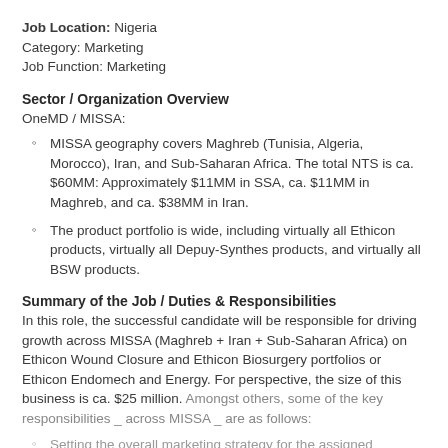Job Location: Nigeria
Category: Marketing
Job Function: Marketing
Sector / Organization Overview
OneMD / MISSA:
MISSA geography covers Maghreb (Tunisia, Algeria, Morocco), Iran, and Sub-Saharan Africa. The total NTS is ca. $60MM: Approximately $11MM in SSA, ca. $11MM in Maghreb, and ca. $38MM in Iran.
The product portfolio is wide, including virtually all Ethicon products, virtually all Depuy-Synthes products, and virtually all BSW products.
Summary of the Job / Duties & Responsibilities
In this role, the successful candidate will be responsible for driving growth across MISSA (Maghreb + Iran + Sub-Saharan Africa) on Ethicon Wound Closure and Ethicon Biosurgery portfolios or Ethicon Endomech and Energy. For perspective, the size of this business is ca. $25 million. Amongst others, some of the key responsibilities _ across MISSA _ are as follows:
Setting the overall marketing strategy for the assigned